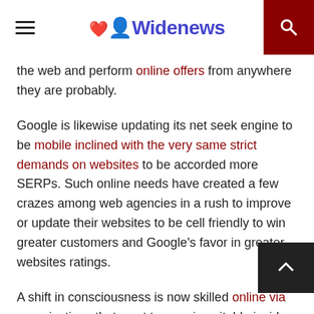Widenews
the web and perform online offers from anywhere they are probably.
Google is likewise updating its net seek engine to be mobile inclined with the very same strict demands on websites to be accorded more SERPs. Such online needs have created a few crazes among web agencies in a rush to improve or update their websites to be cell friendly to win greater customers and Google's favor in greater websites ratings.
A shift in consciousness is now skilled online via organizations that want to remain suitable inside the market. This is popping on a mobile transformation wherein an awful lot higher organization returns origina from nicely-created mobile-friendly net organization websites.